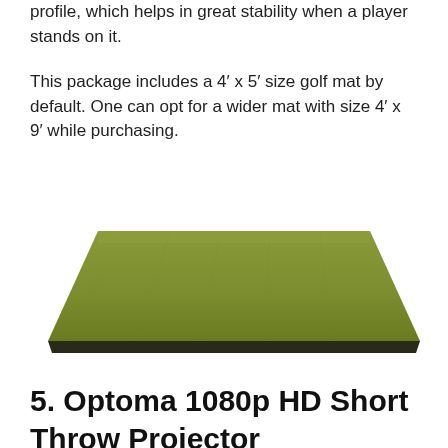profile, which helps in great stability when a player stands on it.
This package includes a 4′ x 5′ size golf mat by default. One can opt for a wider mat with size 4′ x 9′ while purchasing.
[Figure (photo): A green golf mat viewed from a slight angle, showing a rectangular olive-green artificial turf mat with a dark border at the bottom.]
5. Optoma 1080p HD Short Throw Projector